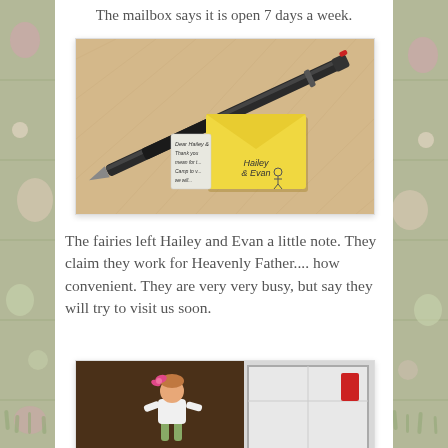The mailbox says it is open 7 days a week.
[Figure (photo): A pen lying next to a small folded yellow sticky note/envelope with handwriting, on a textured cream surface.]
The fairies left Hailey and Evan a little note. They claim they work for Heavenly Father.... how convenient. They are very very busy, but say they will try to visit us soon.
[Figure (photo): A young child with a bow in her hair standing near what appears to be a white door or playhouse, looking down.]